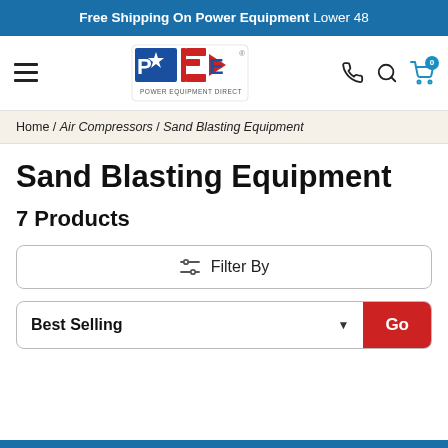Free Shipping On Power Equipment Lower 48
[Figure (logo): Power Equipment Direct (PED) logo with star, arrow, red and blue text]
Home / Air Compressors / Sand Blasting Equipment
Sand Blasting Equipment
7 Products
Filter By
Best Selling